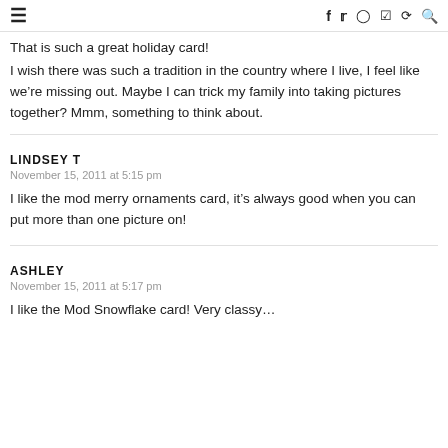≡  f  𝕏  ◎  ⊕  ⌂  🔍
That is such a great holiday card!
I wish there was such a tradition in the country where I live, I feel like we're missing out. Maybe I can trick my family into taking pictures together? Mmm, something to think about.
LINDSEY T
November 15, 2011 at 5:15 pm
I like the mod merry ornaments card, it's always good when you can put more than one picture on!
ASHLEY
November 15, 2011 at 5:17 pm
I like the Mod Snowflake card! Very classy…